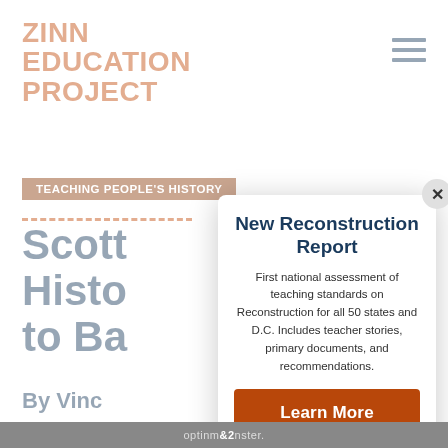ZINN EDUCATION PROJECT
TEACHING PEOPLE'S HISTORY
Scott... Histo... to Ba...
By Vinc...
When the announced Vietnam, outside c words, powerful interes... "Mind your
New Reconstruction Report
First national assessment of teaching standards on Reconstruction for all 50 states and D.C. Includes teacher stories, primary documents, and recommendations.
Learn More
optinm nster.